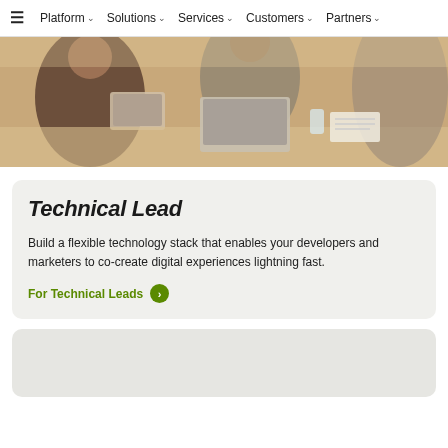≡  Platform ▾  Solutions ▾  Services ▾  Customers ▾  Partners ▾
[Figure (photo): Photo of people collaborating around a table with laptops and documents, warm tones]
Technical Lead
Build a flexible technology stack that enables your developers and marketers to co-create digital experiences lightning fast.
For Technical Leads →